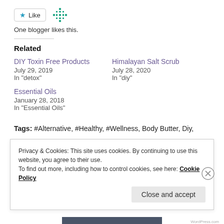[Figure (other): Like button with star icon and snowflake avatar icon]
One blogger likes this.
Related
DIY Toxin Free Products
July 29, 2019
In "detox"
Himalayan Salt Scrub
July 28, 2020
In "diy"
Essential Oils
January 28, 2018
In "Essential Oils"
Tags: #Alternative, #Healthy, #Wellness, Body Butter, Diy,
Privacy & Cookies: This site uses cookies. By continuing to use this website, you agree to their use.
To find out more, including how to control cookies, see here: Cookie Policy
Close and accept